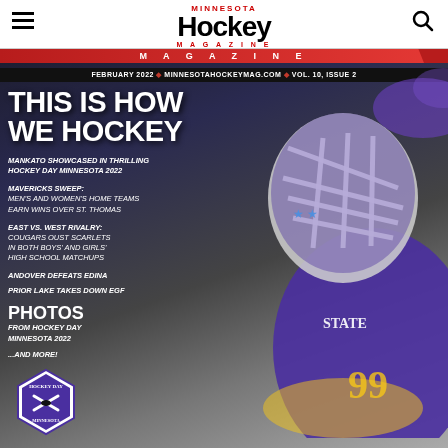Minnesota Hockey Magazine
[Figure (photo): Magazine cover of Minnesota Hockey Magazine, February 2022, Vol. 10 Issue 2, featuring a hockey goalie wearing a purple and gold mask with 'State' branding. Background is dark grey/blue. Left side contains cover text including 'THIS IS HOW WE HOCKEY', story headlines, and a Hockey Day Minnesota 2022 badge at bottom.]
THIS IS HOW WE HOCKEY
MANKATO SHOWCASED IN THRILLING HOCKEY DAY MINNESOTA 2022
MAVERICKS SWEEP: MEN'S AND WOMEN'S HOME TEAMS EARN WINS OVER ST. THOMAS
EAST VS. WEST RIVALRY: COUGARS OUST SCARLETS IN BOTH BOYS' AND GIRLS' HIGH SCHOOL MATCHUPS
ANDOVER DEFEATS EDINA
PRIOR LAKE TAKES DOWN EGF
PHOTOS FROM HOCKEY DAY MINNESOTA 2022
...AND MORE!